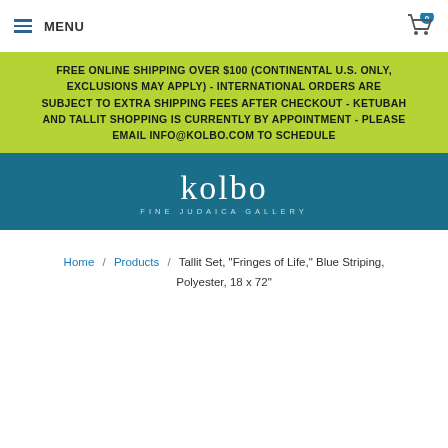MENU | Cart 0
FREE ONLINE SHIPPING OVER $100 (CONTINENTAL U.S. ONLY, EXCLUSIONS MAY APPLY) - INTERNATIONAL ORDERS ARE SUBJECT TO EXTRA SHIPPING FEES AFTER CHECKOUT - KETUBAH AND TALLIT SHOPPING IS CURRENTLY BY APPOINTMENT - PLEASE EMAIL INFO@KOLBO.COM TO SCHEDULE
[Figure (logo): Kolbo Fine Judaica Gallery logo in white text on teal/dark blue background]
Home / Products / Tallit Set, "Fringes of Life," Blue Striping, Polyester, 18 x 72"